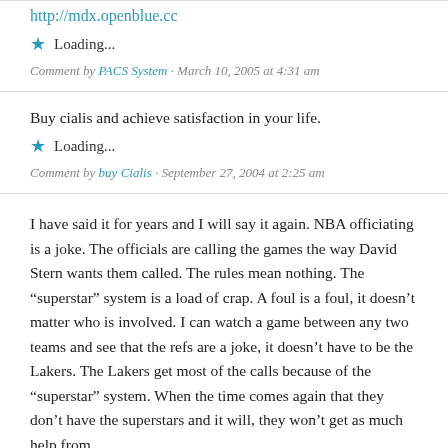http://mdx.openblue.cc
Loading...
Comment by PACS System · March 10, 2005 at 4:31 am
Buy cialis and achieve satisfaction in your life.
Loading...
Comment by buy Cialis · September 27, 2004 at 2:25 am
I have said it for years and I will say it again. NBA officiating is a joke. The officials are calling the games the way David Stern wants them called. The rules mean nothing. The “superstar” system is a load of crap. A foul is a foul, it doesn’t matter who is involved. I can watch a game between any two teams and see that the refs are a joke, it doesn’t have to be the Lakers. The Lakers get most of the calls because of the “superstar” system. When the time comes again that they don’t have the superstars and it will, they won’t get as much help from